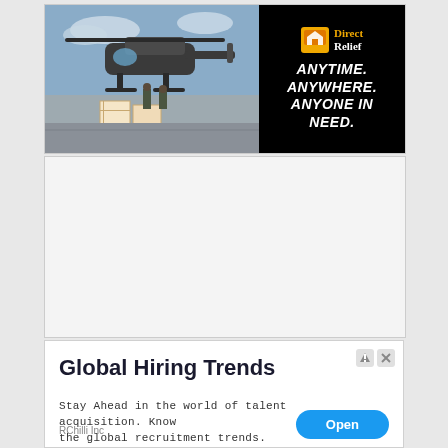[Figure (photo): Advertisement banner: Left half shows a photograph of military helicopter with soldiers unloading cargo boxes on a tarmac. Right half is a black panel with Direct Relief logo and tagline 'ANYTIME. ANYWHERE. ANYONE IN NEED.']
[Figure (other): Large gray empty content block, likely a placeholder or whitespace area in the web page layout.]
[Figure (screenshot): Advertisement card for 'Global Hiring Trends' by RChilli Inc. White card with bold dark title, monospace body text reading 'Stay Ahead in the world of talent acquisition. Know the global recruitment trends.', and a blue 'Open' button.]